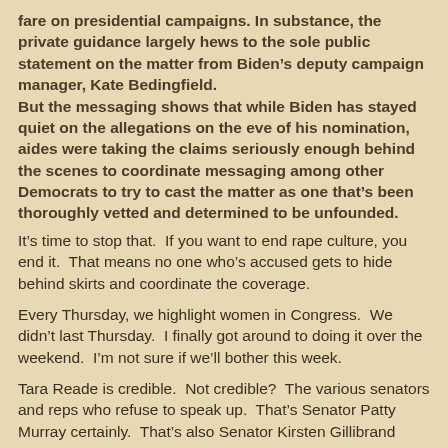fare on presidential campaigns. In substance, the private guidance largely hews to the sole public statement on the matter from Biden’s deputy campaign manager, Kate Bedingfield.
But the messaging shows that while Biden has stayed quiet on the allegations on the eve of his nomination, aides were taking the claims seriously enough behind the scenes to coordinate messaging among other Democrats to try to cast the matter as one that’s been thoroughly vetted and determined to be unfounded.
It’s time to stop that.  If you want to end rape culture, you end it.  That means no one who’s accused gets to hide behind skirts and coordinate the coverage.
Every Thursday, we highlight women in Congress.  We didn’t last Thursday.  I finally got around to doing it over the weekend.  I’m not sure if we’ll bother this week.
Tara Reade is credible.  Not credible?  The various senators and reps who refuse to speak up.  That’s Senator Patty Murray certainly.  That’s also Senator Kirsten Gillibrand